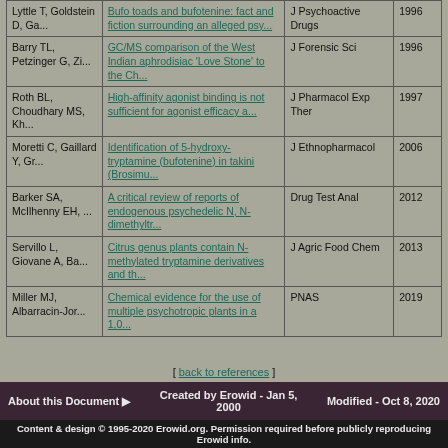| Authors | Title | Journal | Year |
| --- | --- | --- | --- |
| Lyttle T, Goldstein D, Ga... | Bufo toads and bufotenine: fact and fiction surrounding an alleged psy... | J Psychoactive Drugs | 1996 |
| Barry TL, Petzinger G, Zi... | GC/MS comparison of the West Indian aphrodisiac 'Love Stone' to the Ch... | J Forensic Sci | 1996 |
| Roth BL, Choudhary MS, Kh... | High-affinity agonist binding is not sufficient for agonist efficacy a... | J Pharmacol Exp Ther | 1997 |
| Moretti C, Gaillard Y, Gr... | Identification of 5-hydroxy-tryptamine (bufotenine) in takini (Brosimu... | J Ethnopharmacol | 2006 |
| Barker SA, McIlhenny EH, ... | A critical review of reports of endogenous psychedelic N, N-dimethyltr... | Drug Test Anal | 2012 |
| Servillo L, Giovane A, Ba... | Citrus genus plants contain N-methylated tryptamine derivatives and th... | J Agric Food Chem | 2013 |
| Miller MJ, Albarracin-Jor... | Chemical evidence for the use of multiple psychotropic plants in a 1,0... | PNAS | 2019 |
[ back to references ]
About this Document ▶   Created by Erowid - Jan 5, 2000   Modified - Oct 8, 2020
Content & design © 1995-2020 Erowid.org. Permission required before publicly reproducing Erowid info.